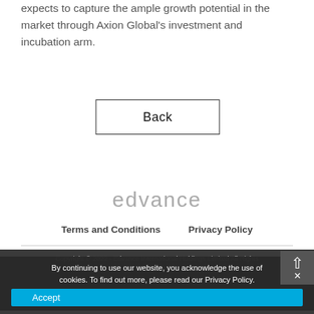expects to capture the ample growth potential in the market through Axion Global's investment and incubation arm.
Back
[Figure (logo): edvance logo in light gray text]
Terms and Conditions    Privacy Policy
Copyright © 2022 - Edvance International Holdings Limited All Rights Reserved.
By continuing to use our website, you acknowledge the use of cookies. To find out more, please read our Privacy Policy.
Accept